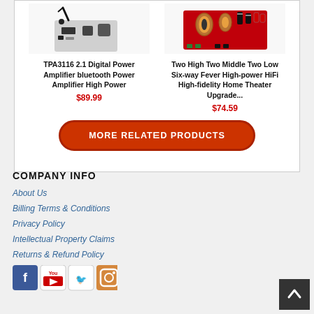[Figure (photo): TPA3116 2.1 Digital Power Amplifier with bluetooth antenna, partial view from top]
TPA3116 2.1 Digital Power Amplifier bluetooth Power Amplifier High Power
$89.99
[Figure (photo): Two High Two Middle Two Low Six-way crossover board on red PCB with coils and capacitors]
Two High Two Middle Two Low Six-way Fever High-power HiFi High-fidelity Home Theater Upgrade...
$74.59
MORE RELATED PRODUCTS
COMPANY INFO
About Us
Billing Terms & Conditions
Privacy Policy
Intellectual Property Claims
Returns & Refund Policy
[Figure (illustration): Social media icons: Facebook, YouTube, Twitter, Instagram]